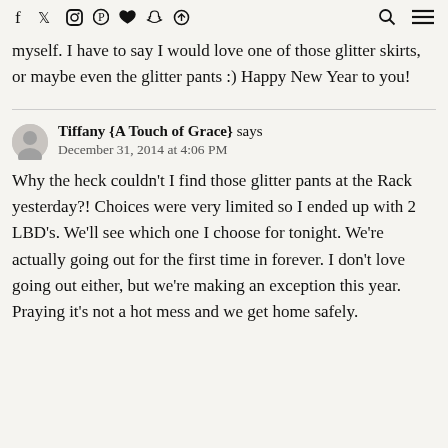social media icons, search, menu
myself. I have to say I would love one of those glitter skirts, or maybe even the glitter pants :) Happy New Year to you!
Tiffany {A Touch of Grace} says
December 31, 2014 at 4:06 PM
Why the heck couldn't I find those glitter pants at the Rack yesterday?! Choices were very limited so I ended up with 2 LBD's. We'll see which one I choose for tonight. We're actually going out for the first time in forever. I don't love going out either, but we're making an exception this year. Praying it's not a hot mess and we get home safely.